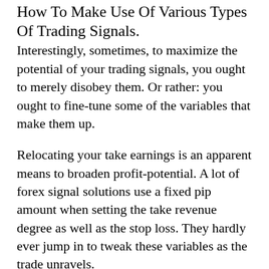How To Make Use Of Various Types Of Trading Signals.
Interestingly, sometimes, to maximize the potential of your trading signals, you ought to merely disobey them. Or rather: you ought to fine-tune some of the variables that make them up.
Relocating your take earnings is an apparent means to broaden profit-potential. A lot of forex signal solutions use a fixed pip amount when setting the take revenue degree as well as the stop loss. They hardly ever jump in to tweak these variables as the trade unravels.
Take Earnings And Stop Loss.
If you deem the possibility of the profession better